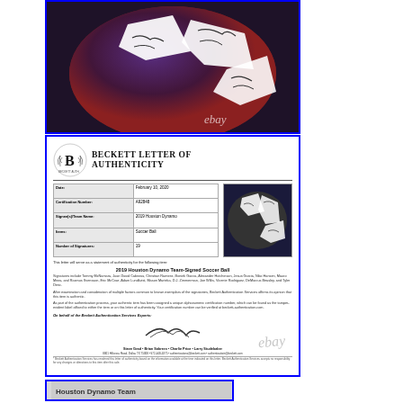[Figure (photo): Close-up photo of a signed soccer ball with multiple autographs on white panels, dark blue/red background, eBay watermark visible]
[Figure (photo): Beckett Letter of Authenticity document for 2019 Houston Dynamo Team-Signed Soccer Ball, showing certificate details table, photo of soccer ball, signatures of Steve Grad, Brian Sobrero, Charlie Price, Larry Studebaker, with eBay watermark]
[Figure (photo): Partially visible third image at bottom of page, appears to show additional auction listing content]